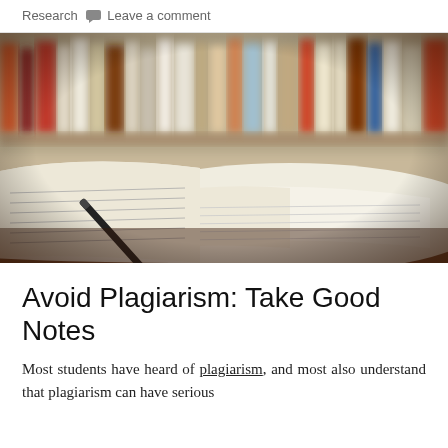Research   Leave a comment
[Figure (photo): Open books and a pen on a desk, with blurred bookshelves in the background]
Avoid Plagiarism: Take Good Notes
Most students have heard of plagiarism, and most also understand that plagiarism can have serious